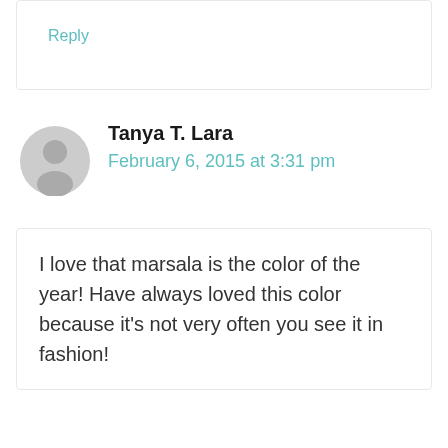Reply
Tanya T. Lara
February 6, 2015 at 3:31 pm
I love that marsala is the color of the year! Have always loved this color because it's not very often you see it in fashion!